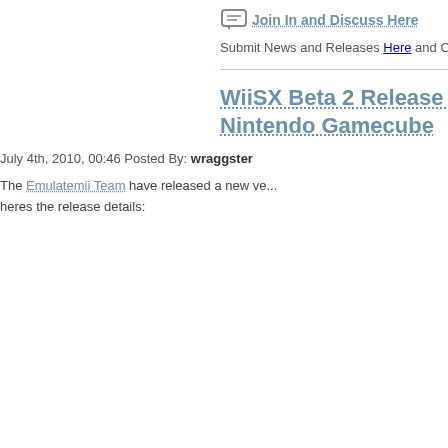Join In and Discuss Here
Submit News and Releases Here and Contact
WiiSX Beta 2 Release - PSX Emulator for Nintendo Gamecube
July 4th, 2010, 00:46 Posted By: wraggster
The Emulatemii Team have released a new ve... heres the release details: